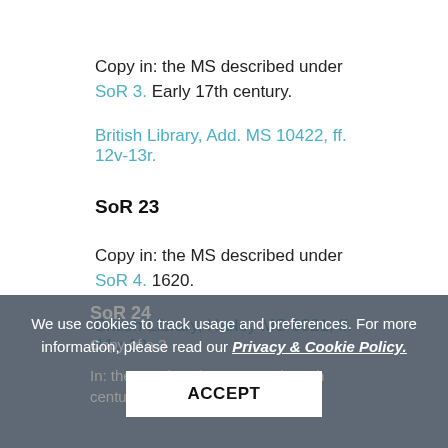Copy in: the MS described under SoR 3. Early 17th century.
British Library, Add. MS 10422, ff. 12v-13r.
SoR 23
Copy in: the MS described under SoR 4. 1620.
British Library, Harley MS 6921, ff. 11v-12r.
SoR 24
Copy of a 3...
In: the MS described... Early 17th century.
We use cookies to track usage and preferences. For more information, please read our Privacy & Cookie Policy.
ACCEPT